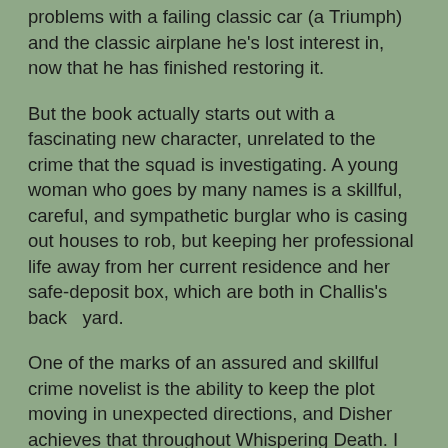problems with a failing classic car (a Triumph) and the classic airplane he's lost interest in, now that he has finished restoring it.
But the book actually starts out with a fascinating new character, unrelated to the crime that the squad is investigating. A young woman who goes by many names is a skillful, careful, and sympathetic burglar who is casing out houses to rob, but keeping her professional life away from her current residence and her safe-deposit box, which are both in Challis's back  yard.
One of the marks of an assured and skillful crime novelist is the ability to keep the plot moving in unexpected directions, and Disher achieves that throughout Whispering Death. I can't really talk much more about the story without giving away the plot, though plot is only one of the pleasures of the book and the series. Challis and Murphy are delightfully ordinary people, with personal lives full of ordinary problems. The narration and dialogue are so natural that a reader would be sucked in even if the plot wasn't moving so quickly and unexpectedly forward. And after a couple of sudden